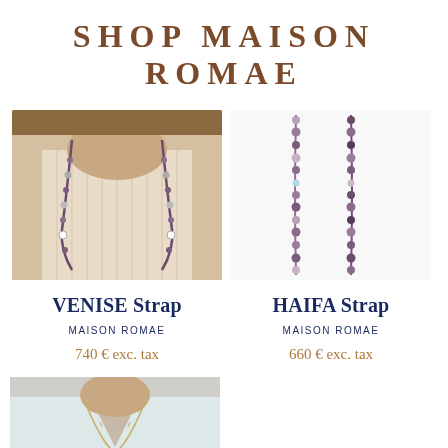SHOP MAISON ROMAE
[Figure (photo): Model wearing a beaded necklace strap over a cream ribbed tank top - VENISE Strap product photo]
[Figure (photo): Two beaded necklace straps shown laid flat or hanging - HAIFA Strap product photo, purple/pink beads]
VENISE Strap
MAISON ROMAE
740 € exc. tax
HAIFA Strap
MAISON ROMAE
660 € exc. tax
[Figure (photo): Model wearing a delicate chain necklace over a light blue/white top - third product photo partially visible]